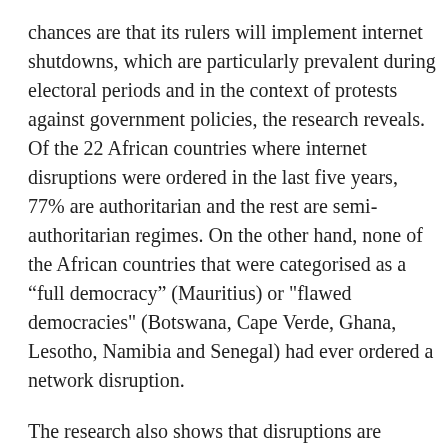chances are that its rulers will implement internet shutdowns, which are particularly prevalent during electoral periods and in the context of protests against government policies, the research reveals. Of the 22 African countries where internet disruptions were ordered in the last five years, 77% are authoritarian and the rest are semi-authoritarian regimes. On the other hand, none of the African countries that were categorised as a “full democracy” (Mauritius) or "flawed democracies" (Botswana, Cape Verde, Ghana, Lesotho, Namibia and Senegal) had ever ordered a network disruption.
The research also shows that disruptions are correlated with the longer a leader has stayed in power. Of the 14 African leaders who had been in power for 13 years and more (either through coups or inheriting power from their fathers who led for decades), 79% have ordered shutdowns, mostly during tense election periods, anti-